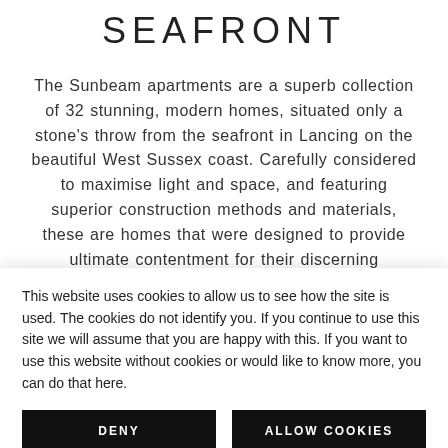SEAFRONT
The Sunbeam apartments are a superb collection of 32 stunning, modern homes, situated only a stone's throw from the seafront in Lancing on the beautiful West Sussex coast. Carefully considered to maximise light and space, and featuring superior construction methods and materials, these are homes that were designed to provide ultimate contentment for their discerning purchasers.
The majority of the apartments offer two large
This website uses cookies to allow us to see how the site is used. The cookies do not identify you. If you continue to use this site we will assume that you are happy with this. If you want to use this website without cookies or would like to know more, you can do that here.
DENY
ALLOW COOKIES
rooms and high quality fixtures and fittings. Outside